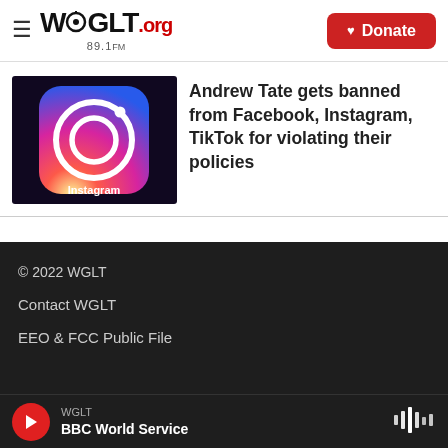WGLT.org 89.1FM — Donate
[Figure (photo): Instagram app icon on dark background showing the Instagram logo (camera with circle and dot)]
Andrew Tate gets banned from Facebook, Instagram, TikTok for violating their policies
© 2022 WGLT
Contact WGLT
EEO & FCC Public File
WGLT BBC World Service